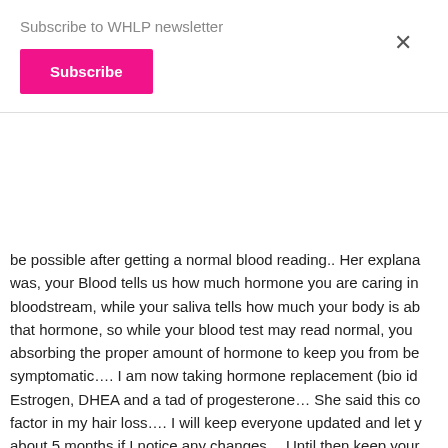Subscribe to WHLP newsletter
Subscribe
be possible after getting a normal blood reading.. Her explana was, your Blood tells us how much hormone you are caring in bloodstream, while your saliva tells how much your body is ab that hormone, so while your blood test may read normal, you absorbing the proper amount of hormone to keep you from be symptomatic.... I am now taking hormone replacement (bio id Estrogen, DHEA and a tad of progesterone... She said this co factor in my hair loss.... I will keep everyone updated and let y about 5 months if I notice any changes... Until then keep your find someone who does saliva testing.... God Bless!!!
REPLY
Sunni   January 6, 2011 at 12:40 pm